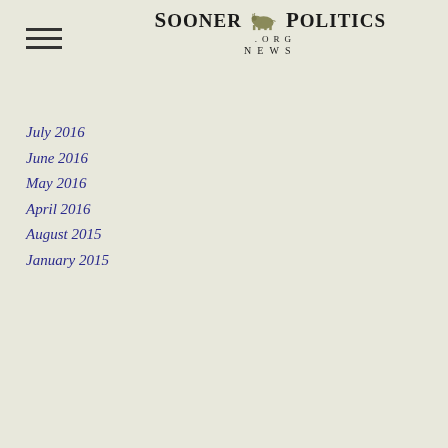Sooner Politics News .org
July 2016
June 2016
May 2016
April 2016
August 2015
January 2015